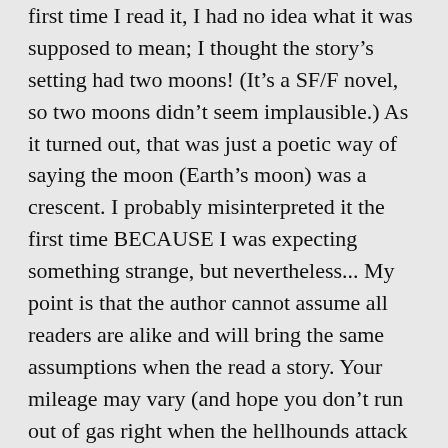first time I read it, I had no idea what it was supposed to mean; I thought the story's setting had two moons! (It's a SF/F novel, so two moons didn't seem implausible.) As it turned out, that was just a poetic way of saying the moon (Earth's moon) was a crescent. I probably misinterpreted it the first time BECAUSE I was expecting something strange, but nevertheless... My point is that the author cannot assume all readers are alike and will bring the same assumptions when the read a story. Your mileage may vary (and hope you don't run out of gas right when the hellhounds attack 🙂).
“If you stop or hesitate on any sentence, go back, something isn't right.” THAT assumes all writers are good at reading aloud, or at least that they don't stumble and hesitate when reading aloud, no matter what they're reading. Sometimes the